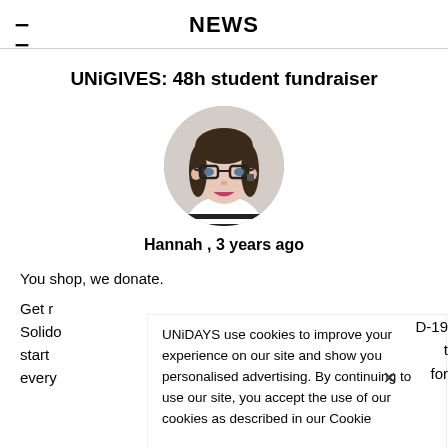NEWS
UNiGIVES: 48h student fundraiser
[Figure (photo): Circular profile photo of a young woman with long dark hair, wearing glasses and a striped top, smiling.]
Hannah , 3 years ago
You shop, we donate.
Get r
Solido
start
every
UNiDAYS use cookies to improve your experience on our site and show you personalised advertising. By continuing to use our site, you accept the use of our cookies as described in our Cookie...
D-19
t
for